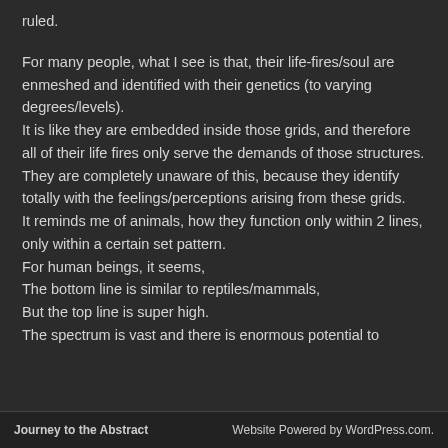ruled.
For many people, what I see is that, their life-fires/soul are enmeshed and identified with their genetics (to varying degrees/levels).
It is like they are embedded inside those grids, and therefore all of their life fires only serve the demands of those structures.
They are completely unaware of this, because they identify totally with the feelings/perceptions arising from these grids.
It reminds me of animals, how they function only within 2 lines, only within a certain set pattern.
For human beings, it seems,
The bottom line is similar to reptiles/mammals,
But the top line is super high.
The spectrum is vast and there is enormous potential to
Journey to the Abstract    Website Powered by WordPress.com.